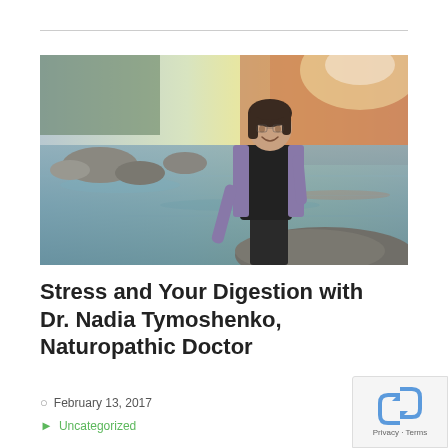[Figure (photo): A woman in a purple cardigan and dark shirt smiling outdoors near a rocky waterway with blurred water and rock background. Natural outdoor lighting.]
Stress and Your Digestion with Dr. Nadia Tymoshenko, Naturopathic Doctor
February 13, 2017
Uncategorized